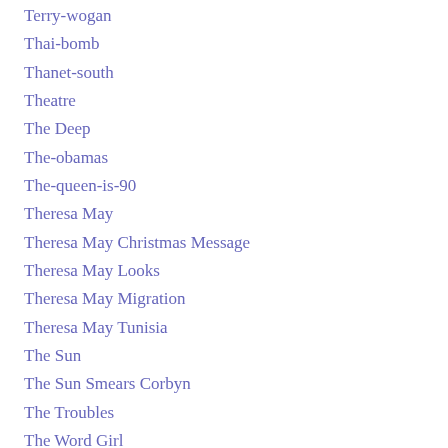Terry-wogan
Thai-bomb
Thanet-south
Theatre
The Deep
The-obamas
The-queen-is-90
Theresa May
Theresa May Christmas Message
Theresa May Looks
Theresa May Migration
Theresa May Tunisia
The Sun
The Sun Smears Corbyn
The Troubles
The Word Girl
Third Runway
Third Terror Attack